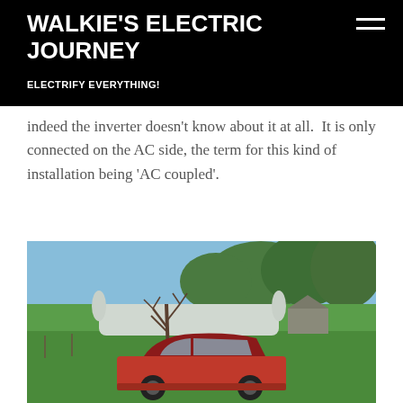WALKIE'S ELECTRIC JOURNEY
ELECTRIFY EVERYTHING!
indeed the inverter doesn't know about it at all.  It is only connected on the AC side, the term for this kind of installation being 'AC coupled'.
[Figure (photo): Outdoor rural scene with a red classic car (muscle car) parked on green grass, bare winter tree in center, long white polytunnel greenhouse and sheds in background, tall eucalyptus trees along the horizon under a blue sky.]